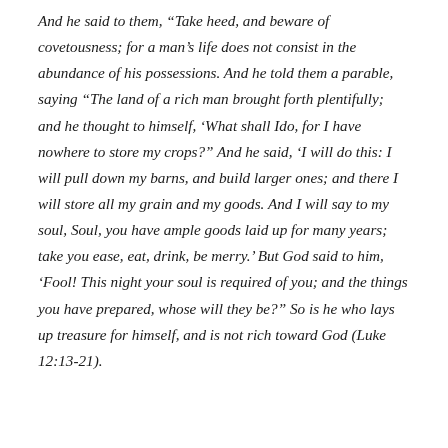And he said to them, “Take heed, and beware of covetousness; for a man’s life does not consist in the abundance of his possessions. And he told them a parable, saying “The land of a rich man brought forth plentifully; and he thought to himself, ‘What shall Ido, for I have nowhere to store my crops?” And he said, ‘I will do this: I will pull down my barns, and build larger ones; and there I will store all my grain and my goods. And I will say to my soul, Soul, you have ample goods laid up for many years; take you ease, eat, drink, be merry.’ But God said to him, ‘Fool! This night your soul is required of you; and the things you have prepared, whose will they be?” So is he who lays up treasure for himself, and is not rich toward God (Luke 12:13-21).